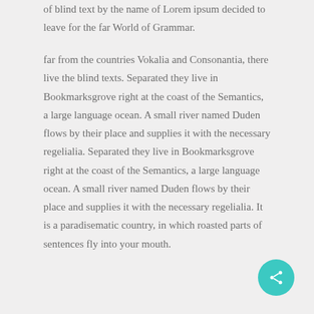of blind text by the name of Lorem ipsum decided to leave for the far World of Grammar.
far from the countries Vokalia and Consonantia, there live the blind texts. Separated they live in Bookmarksgrove right at the coast of the Semantics, a large language ocean. A small river named Duden flows by their place and supplies it with the necessary regelialia. Separated they live in Bookmarksgrove right at the coast of the Semantics, a large language ocean. A small river named Duden flows by their place and supplies it with the necessary regelialia. It is a paradisematic country, in which roasted parts of sentences fly into your mouth.